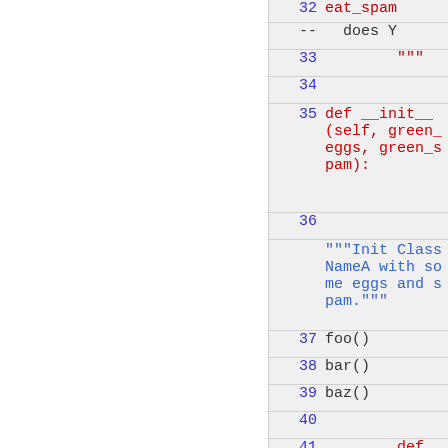[Figure (screenshot): Code viewer showing Python source code with line numbers 32-41. Left side is white/blank panel, right side is a gray code panel with line numbers in blue and code text in red/dark colors. Lines shown: 32 eat_spam, -- does Y, 33 """, 34 (blank), 35 def __init__(self, green_eggs, green_spam):, 36 (blank), 36 """Init ClassNameA with some eggs and spam.""", 37 foo(), 38 bar(), 39 baz(), 40 (blank), 41 def eat_eggs(self):]